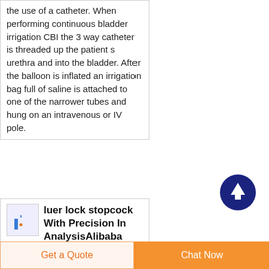the use of a catheter. When performing continuous bladder irrigation CBI the 3 way catheter is threaded up the patient s urethra and into the bladder. After the balloon is inflated an irrigation bag full of saline is attached to one of the narrower tubes and hung on an intravenous or IV pole.
[Figure (illustration): Scroll-to-top circular button with dark navy blue background and white upward arrow]
luer lock stopcock With Precision In AnalysisAlibaba
Luer Lock Stopcock Luer Lock
[Figure (photo): Small thumbnail image of a luer lock stopcock product with blue bar chart icon on light purple background]
Get a Quote   Chat Now